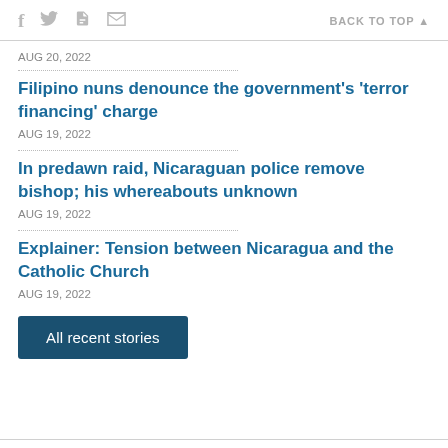f  [twitter]  [print]  [email]    BACK TO TOP ▲
AUG 20, 2022
Filipino nuns denounce the government's 'terror financing' charge
AUG 19, 2022
In predawn raid, Nicaraguan police remove bishop; his whereabouts unknown
AUG 19, 2022
Explainer: Tension between Nicaragua and the Catholic Church
AUG 19, 2022
All recent stories